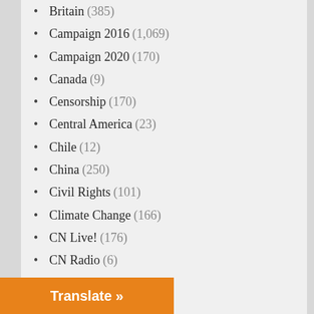Britain (385)
Campaign 2016 (1,069)
Campaign 2020 (170)
Canada (9)
Censorship (170)
Central America (23)
Chile (12)
China (250)
Civil Rights (101)
Climate Change (166)
CN Live! (176)
CN Radio (6)
CN Video (22)
Cold War (73)
Column (307)
Commentary (1,999)
Congo (8)
Consortium News at 25 (44)
Consortium News on Flash Points (9)